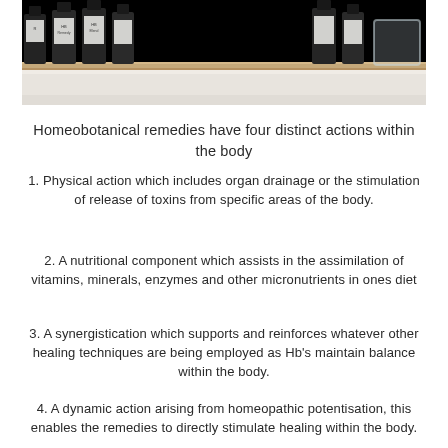[Figure (photo): Photo of dark glass bottles of homeobotanical remedies on a wooden shelf with a glass container]
Homeobotanical remedies have four distinct actions within the body
1. Physical action which includes organ drainage or the stimulation of release of toxins from specific areas of the body.
2. A nutritional component which assists in the assimilation of vitamins, minerals, enzymes and other micronutrients in ones diet
3. A synergistication which supports and reinforces whatever other healing techniques are being employed as Hb's maintain balance within the body.
4. A dynamic action arising from homeopathic potentisation, this enables the remedies to directly stimulate healing within the body.